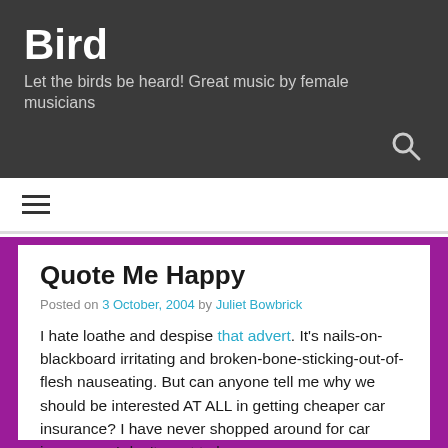Bird
Let the birds be heard! Great music by female musicians
[Figure (other): Search icon (magnifying glass)]
[Figure (other): Hamburger menu icon (three horizontal lines)]
Quote Me Happy
Posted on 3 October, 2004 by Juliet Bowbrick
I hate loathe and despise that advert. It's nails-on-blackboard irritating and broken-bone-sticking-out-of-flesh nauseating. But can anyone tell me why we should be interested AT ALL in getting cheaper car insurance? I have never shopped around for car insurance, I don't want to be